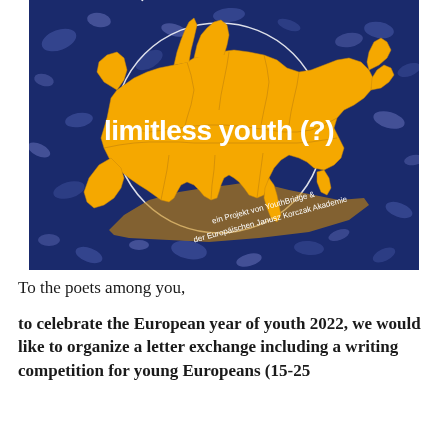[Figure (illustration): Poster for 'EU - limitless youth (?)' event showing a stylized golden/yellow 3D map of Europe on a dark blue patterned background. A white circle frames the text 'limitless youth (?)' in bold white lettering. Curved text at the top reads 'EU - W...' and at the bottom inside the circle reads 'ein Projekt von YouthBridge & der Europäischen Janusz Korczak Akademie'.]
To the poets among you,
to celebrate the European year of youth 2022, we would like to organize a letter exchange including a writing competition for young Europeans (15-25